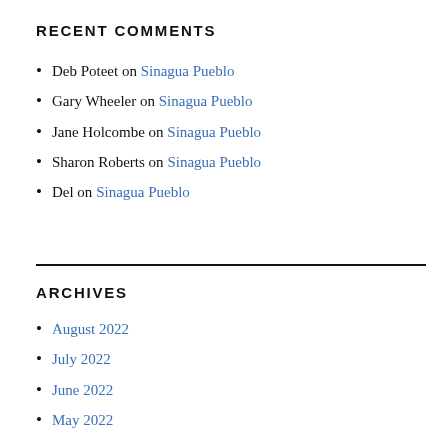RECENT COMMENTS
Deb Poteet on Sinagua Pueblo
Gary Wheeler on Sinagua Pueblo
Jane Holcombe on Sinagua Pueblo
Sharon Roberts on Sinagua Pueblo
Del on Sinagua Pueblo
ARCHIVES
August 2022
July 2022
June 2022
May 2022